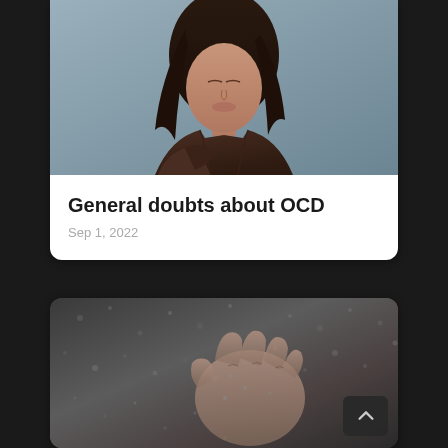[Figure (photo): A young woman with long dark hair, eyes closed, wearing a dark brown leather jacket, photographed against a grey-blue wall background — top portion of a card]
General doubts about OCD
Sep 1, 2022
[Figure (photo): A hand pressed against a rain-covered glass surface, partially visible at the bottom of the page, dark atmospheric background]